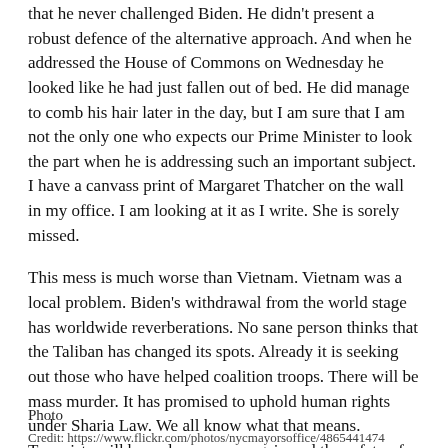that he never challenged Biden. He didn't present a robust defence of the alternative approach. And when he addressed the House of Commons on Wednesday he looked like he had just fallen out of bed. He did manage to comb his hair later in the day, but I am sure that I am not the only one who expects our Prime Minister to look the part when he is addressing such an important subject. I have a canvass print of Margaret Thatcher on the wall in my office. I am looking at it as I write. She is sorely missed.
This mess is much worse than Vietnam. Vietnam was a local problem. Biden's withdrawal from the world stage has worldwide reverberations. No sane person thinks that the Taliban has changed its spots. Already it is seeking out those who have helped coalition troops. There will be mass murder. It has promised to uphold human rights under Sharia Law. We all know what that means. Terrorists will be welcome once again and the safety of all of us in the West is at risk.
Photo
Credit: https://www.flickr.com/photos/nycmayorsoffice/4865441474